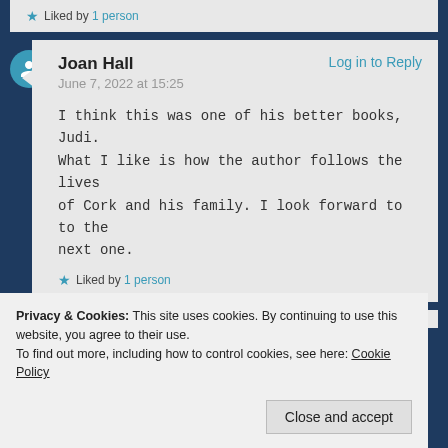★ Liked by 1 person
Joan Hall   Log in to Reply
June 7, 2022 at 15:25

I think this was one of his better books, Judi. What I like is how the author follows the lives of Cork and his family. I look forward to to the next one.

★ Liked by 1 person
Privacy & Cookies: This site uses cookies. By continuing to use this website, you agree to their use.
To find out more, including how to control cookies, see here: Cookie Policy

Close and accept